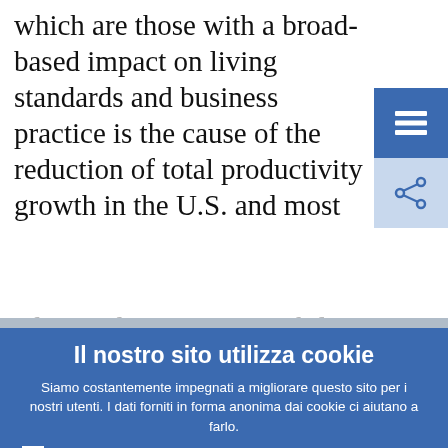which are those with a broad-based impact on living standards and business practice is the cause of the reduction of total productivity growth in the U.S. and most
[Figure (screenshot): Hamburger menu button (three horizontal lines) on blue background, top right corner]
[Figure (screenshot): Share button (share icon) on light blue background, top right corner]
Il nostro sito utilizza cookie
Siamo costantemente impegnati a migliorare questo sito per i nostri utenti. I dati forniti in forma anonima dai cookie ci aiutano a farlo.
Per saperne di più su come utilizziamo i cookie
Capito! Accetto e acconsento all'uso dei cookie
Non accetto e non acconsento all'uso dei cookie